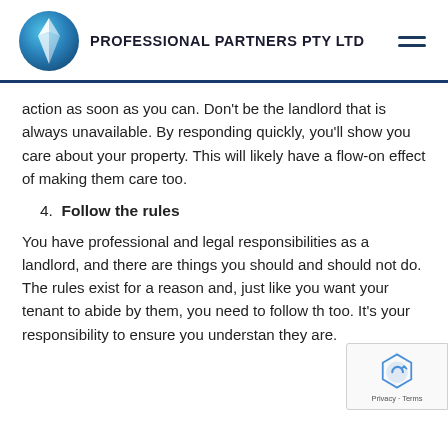PROFESSIONAL PARTNERS PTY LTD
action as soon as you can. Don’t be the landlord that is always unavailable. By responding quickly, you’ll show you care about your property. This will likely have a flow-on effect of making them care too.
4. Follow the rules
You have professional and legal responsibilities as a landlord, and there are things you should and should not do. The rules exist for a reason and, just like you want your tenant to abide by them, you need to follow th too. It’s your responsibility to ensure you understan they are.